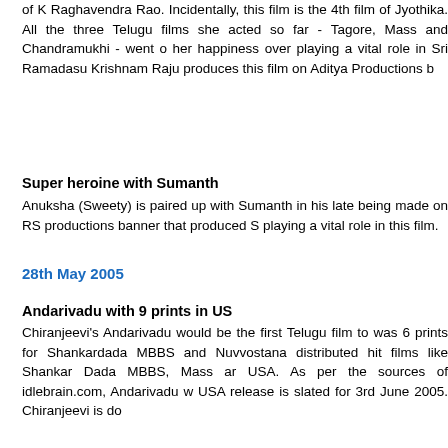of K Raghavendra Rao. Incidentally, this film is the 4th film of Jyothika. All the three Telugu films she acted so far - Tagore, Mass and Chandramukhi - went on her happiness over playing a vital role in Sri Ramadasu. Krishnam Raju produces this film on Aditya Productions b
Super heroine with Sumanth
Anuksha (Sweety) is paired up with Sumanth in his latest being made on RS productions banner that produced S playing a vital role in this film.
28th May 2005
Andarivadu with 9 prints in US
Chiranjeevi's Andarivadu would be the first Telugu film to was 6 prints for Shankardada MBBS and Nuvvostana distributed hit films like Shankar Dada MBBS, Mass ar USA. As per the sources of idlebrain.com, Andarivadu w USA release is slated for 3rd June 2005. Chiranjeevi is do
Bala Krishna inaugurates Veda school in Guntur
Bala Krishna inaugurated Veda patasala found by vete Funding for this Veda school was done by Bala Krishna away from functions like this has agreed to inaugurate Dhulipalla. After inauguration, Bala Krishna performed constructed by Dhulipalla. Later on Bala Krishna was gra
Arjun's film from 11th June
Arjun would be producing and directing a bilingual film lead. Jagapati Babu would be playing another vital role